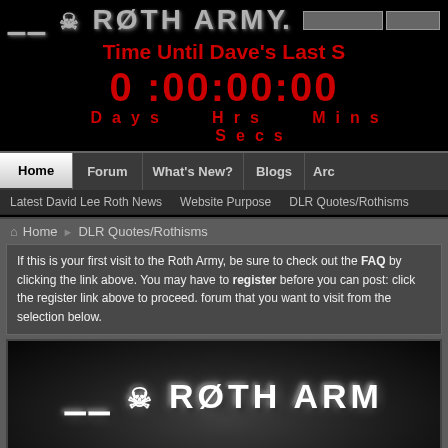[Figure (logo): Roth Army winged skull logo with stylized text]
Time Until Dave's Last S
0 :00:00:00
Days   Hrs   Mins   Secs
Home | Forum | What's New? | Blogs | Arc
Latest David Lee Roth News   Website Purpose   DLR Quotes/Rothisms
Home ▶ DLR Quotes/Rothisms
If this is your first visit to the Roth Army, be sure to check out the FAQ by clicking the link above. You may have to register before you can post: click the register link above to proceed. forum that you want to visit from the selection below.
[Figure (logo): Roth Army winged skull logo on dark background in content area]